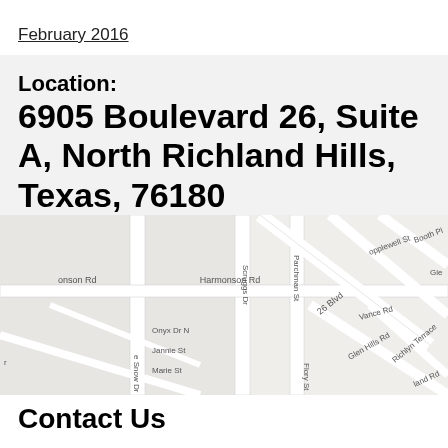February 2016
Location:
6905 Boulevard 26, Suite A, North Richland Hills, Texas, 76180
[Figure (map): Street map showing area around 6905 Boulevard 26, North Richland Hills, Texas, 76180. Streets visible include Harmonson Rd, Onyx Dr N, Jannie St, Marie St, Scruggs Dr, Parchman St, 26 Blvd, Vance Rd, Glen Hills Rd, Richlyn Terrace, opplewell St, Booth Pl, Flory St, Snow Dr.]
Contact Us